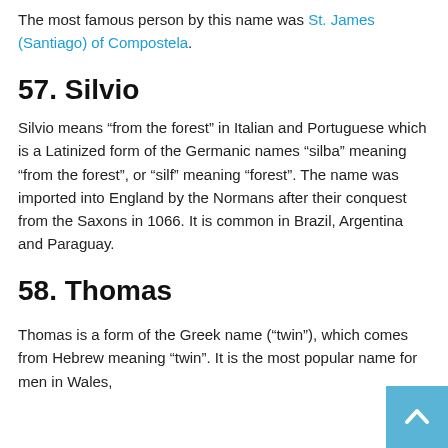The most famous person by this name was St. James (Santiago) of Compostela.
57. Silvio
Silvio means “from the forest” in Italian and Portuguese which is a Latinized form of the Germanic names “silba” meaning “from the forest”, or “silf” meaning “forest”. The name was imported into England by the Normans after their conquest from the Saxons in 1066. It is common in Brazil, Argentina and Paraguay.
58. Thomas
Thomas is a form of the Greek name (“twin”), which comes from Hebrew meaning “twin”. It is the most popular name for men in Wales,